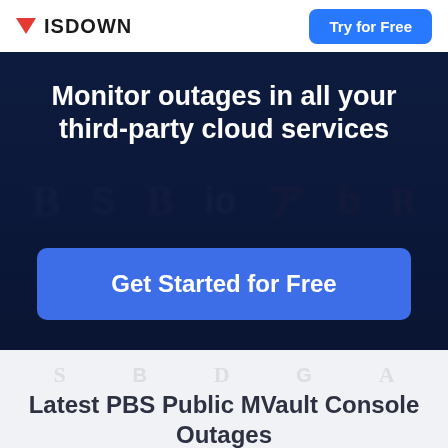ISDOWN | Try for Free
Monitor outages in all your third-party cloud services
Get Started for Free
Latest PBS Public MVault Console Outages